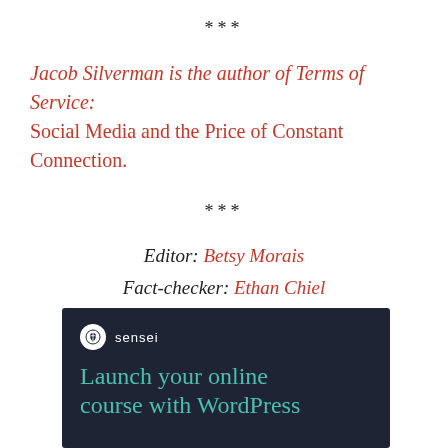***
Jacob Silverman is the author of Terms of Service: Social Media and the Price of Constant Connection.
***
Editor: Betsy Morais
Fact-checker: Ethan Chiel
[Figure (illustration): Sensei advertisement with dark navy background. Sensei logo (tree icon in white circle) with 'sensei' text in white. Teal text reading 'Launch your online course with WordPress']